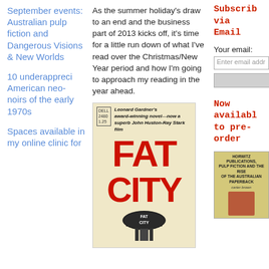September events: Australian pulp fiction and Dangerous Visions & New Worlds
10 underappreci American neo-noirs of the early 1970s
Spaces available in my online clinic for
As the summer holiday's draw to an end and the business part of 2013 kicks off, it's time for a little run down of what I've read over the Christmas/New Year period and how I'm going to approach my reading in the year ahead.
[Figure (photo): Book cover of Fat City - Dell paperback edition. Leonard Gardner's award-winning novel now a superb John Huston-Ray Stark film. Large red lettering FAT CITY on cream background with a water tower graphic at bottom.]
Subscribe via Email
Your email:
Now available to pre-order
[Figure (photo): Book thumbnail: Horwitz Publications, Pulp Fiction and the Rise of the Australian Paperback, featuring carter brown, with an image of a woman.]